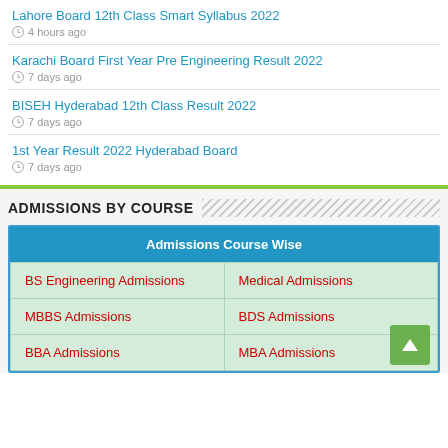Lahore Board 12th Class Smart Syllabus 2022
4 hours ago
Karachi Board First Year Pre Engineering Result 2022
7 days ago
BISEH Hyderabad 12th Class Result 2022
7 days ago
1st Year Result 2022 Hyderabad Board
7 days ago
ADMISSIONS BY COURSE
| Admissions Course Wise |
| --- |
| BS Engineering Admissions | Medical Admissions |
| MBBS Admissions | BDS Admissions |
| BBA Admissions | MBA Admissions |